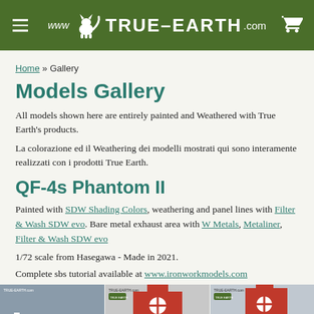www TRUE-EARTH .com
Home » Gallery
Models Gallery
All models shown here are entirely painted and Weathered with True Earth's products.
La colorazione ed il Weathering dei modelli mostrati qui sono interamente realizzati con i prodotti True Earth.
QF-4s Phantom II
Painted with SDW Shading Colors, weathering and panel lines with Filter & Wash SDW evo. Bare metal exhaust area with W Metals, Metaliner, Filter & Wash SDW evo
1/72 scale from Hasegawa - Made in 2021.
Complete sbs tutorial available at www.ironworkmodels.com
[Figure (photo): Three photos of a QF-4s Phantom II scale model showing red and grey scheme with cross markings]